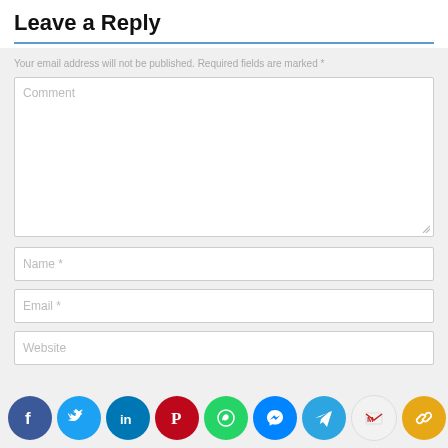Leave a Reply
Your email address will not be published. Required fields are marked *
[Figure (screenshot): Web form with Comment textarea, Name, Email, and Website input fields]
[Figure (infographic): Social share buttons row: Facebook, Twitter, LinkedIn, Pinterest, WhatsApp, Messenger, Telegram, Gmail, Link]